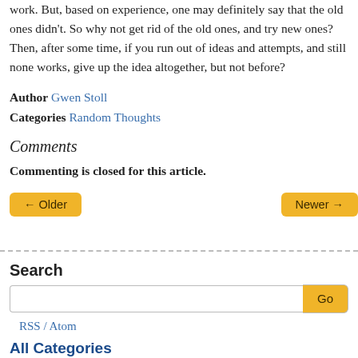work. But, based on experience, one may definitely say that the old ones didn't. So why not get rid of the old ones, and try new ones? Then, after some time, if you run out of ideas and attempts, and still none works, give up the idea altogether, but not before?
Author Gwen Stoll
Categories Random Thoughts
Comments
Commenting is closed for this article.
← Older   Newer →
Search
RSS / Atom
All Categories